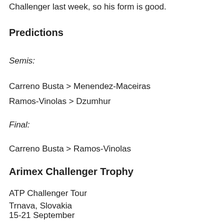Challenger last week, so his form is good.
Predictions
Semis:
Carreno Busta > Menendez-Maceiras
Ramos-Vinolas > Dzumhur
Final:
Carreno Busta > Ramos-Vinolas
Arimex Challenger Trophy
ATP Challenger Tour
Trnava, Slovakia
15-21 September
Prize Money: €42,500